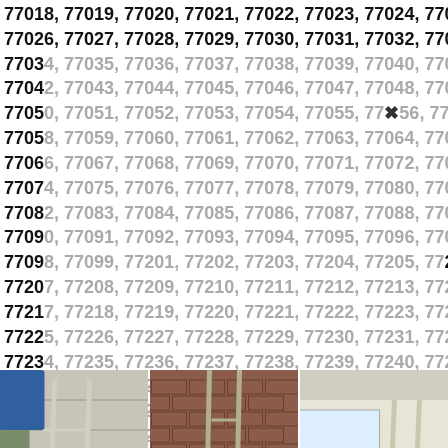77018, 77019, 77020, 77021, 77022, 77023, 77024, 77025,
77026, 77027, 77028, 77029, 77030, 77031, 77032, 77033,
77034, 77035, 77036, 77037, 77038, 77039, 77040, 77041,
77042, 77043, 77044, 77045, 77046, 77047, 77048, 77049,
77050, 77051, 77052, 77053, 77054, 77055, 77056, 77057,
77058, 77059, 77060, 77061, 77062, 77063, 77064, 77065,
77066, 77067, 77068, 77069, 77070, 77071, 77072, 77073,
77074, 77075, 77076, 77077, 77078, 77079, 77080, 77081,
77082, 77083, 77084, 77085, 77086, 77087, 77088, 77089,
77090, 77091, 77092, 77093, 77094, 77095, 77096, 77097,
77098, 77099, 77201, 77202, 77203, 77204, 77205, 77206,
77207, 77208, 77209, 77210, 77211, 77212, 77213, 77216,
77217, 77218, 77219, 77220, 77221, 77222, 77223, 77224,
77225, 77226, 77227, 77228, 77229, 77230, 77231, 77233,
77234, 77235, 77236, 77237, 77238, 77239, 77240, 77242,
77243, 77244, 77245, 77248, 77249, 77251, 77252, 77253,
77254, 77255, 77256, 77257, 77258, 77259, 77261, 77262,
77263, 77265, 77266, 77267, 77268, 77269, 77270, 77271,
77272, 77273, 77274, 77275, 77276, 77277, 77278, 77281,
77282, 77283, 77284, 77285, 77286, 77287, 77288, 77292,
77293, 77297, 77298, 77299, 77315, 77325, 77336, 77337,
77338, 77339, 77345, 77346, 77347, 77355, 77357, 77362,
77365, 77373, 77375, 77377, 77379, 77380, 77381, 77383,
77385, 77386, 77387, 77388, 77389, 77391, 77393, 77396,
77401, 77402, 77406, 77410, 77411, 77413, 77429, 77433,
[Figure (photo): Three photos showing people falling off ladders near houses. Left: person in white falling off a ladder against a gray siding house with a blue container visible. Center: person in red climbing a ladder on a brick house exterior. Right: person in yellow/black falling off a ladder inside a room.]